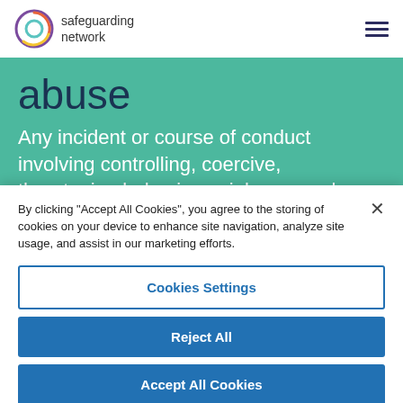safeguarding network
abuse
Any incident or course of conduct involving controlling, coercive, threatening behaviour, violence or abuse (e.g. physical, sexual
By clicking "Accept All Cookies", you agree to the storing of cookies on your device to enhance site navigation, analyze site usage, and assist in our marketing efforts.
Cookies Settings
Reject All
Accept All Cookies